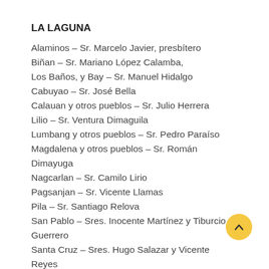LA LAGUNA
Alaminos – Sr. Marcelo Javier, presbítero
Biñan – Sr. Mariano López Calamba,
Los Baños, y Bay – Sr. Manuel Hidalgo
Cabuyao – Sr. José Bella
Calauan y otros pueblos – Sr. Julio Herrera
Lilio – Sr. Ventura Dimaguila
Lumbang y otros pueblos – Sr. Pedro Paraíso
Magdalena y otros pueblos – Sr. Román Dimayuga
Nagcarlan – Sr. Camilo Lirio
Pagsanjan – Sr. Vicente Llamas
Pila – Sr. Santiago Relova
San Pablo – Sres. Inocente Martínez y Tiburcio Guerrero
Santa Cruz – Sres. Hugo Salazar y Vicente Reyes